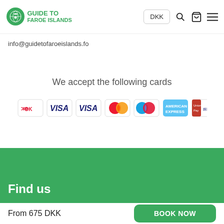[Figure (logo): Guide to Faroe Islands logo — green circular icon with bird and globe, green bold text 'GUIDE TO FAROE ISLANDS']
DKK
info@guidetofaroeislands.fo
We accept the following cards
[Figure (infographic): Payment card logos: Dankort, VISA (two variants), Mastercard, Maestro, American Express, UnionPay]
Find us
From 675 DKK
BOOK NOW